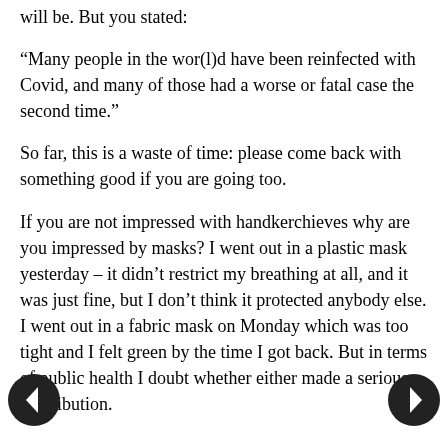will be. But you stated:
“Many people in the wor(l)d have been reinfected with Covid, and many of those had a worse or fatal case the second time.”
So far, this is a waste of time: please come back with something good if you are going too.
If you are not impressed with handkerchieves why are you impressed by masks? I went out in a plastic mask yesterday – it didn’t restrict my breathing at all, and it was just fine, but I don’t think it protected anybody else. I went out in a fabric mask on Monday which was too tight and I felt green by the time I got back. But in terms of public health I doubt whether either made a serious contribution.